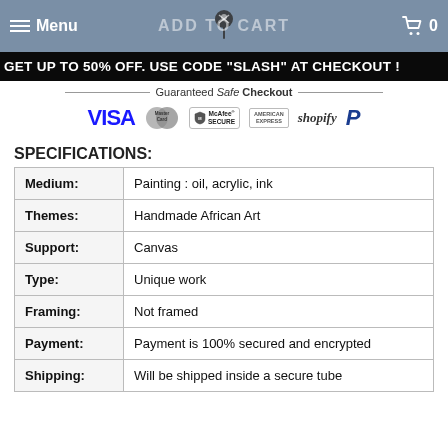Menu | ADD TO CART | 0
GET UP TO 50% OFF. USE CODE "SLASH" AT CHECKOUT !
[Figure (infographic): Guaranteed Safe Checkout banner with payment icons: VISA, MasterCard, McAfee SECURE, American Express, Shopify, PayPal]
SPECIFICATIONS:
| Field | Value |
| --- | --- |
| Medium: | Painting : oil, acrylic, ink |
| Themes: | Handmade African Art |
| Support: | Canvas |
| Type: | Unique work |
| Framing: | Not framed |
| Payment: | Payment is 100% secured and encrypted |
| Shipping: | Will be shipped inside a secure tube |